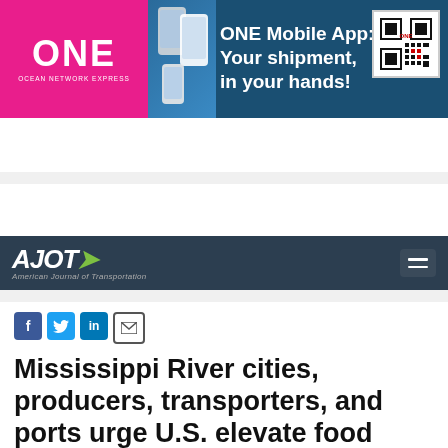[Figure (screenshot): ONE Ocean Network Express mobile app advertisement banner with pink/magenta logo on left, phone images in center, headline 'ONE Mobile App: Your shipment, in your hands!' and QR code on right, on dark blue background]
[Figure (logo): AJOT American Journal of Transportation website header with dark background, logo on left and hamburger menu on right]
[Figure (screenshot): Southwest Cargo advertisement banner: 'Need to ship same day? Southwest Cargo is here to get it there.' on blue background]
[Figure (infographic): Social media sharing icons: Facebook (blue f), Twitter (blue bird), LinkedIn (blue in), Email (envelope)]
Mississippi River cities, producers, transporters, and ports urge U.S. elevate food security as a priority policy issue